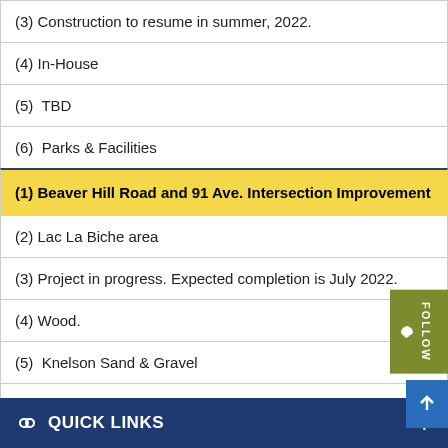(3) Construction to resume in summer, 2022.
(4) In-House
(5)  TBD
(6)  Parks & Facilities
(1) Beaver Hill Road and 91 Ave. Intersection Improvement
(2) Lac La Biche area
(3) Project in progress. Expected completion is July 2022.
(4) Wood.
(5)  Knelson Sand & Gravel
(6) Engineering Services
QUICK LINKS